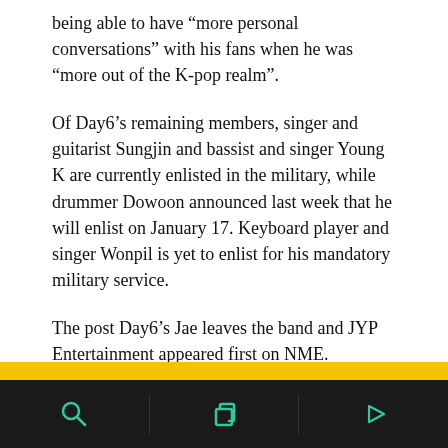being able to have “more personal conversations” with his fans when he was “more out of the K-pop realm”.
Of Day6’s remaining members, singer and guitarist Sungjin and bassist and singer Young K are currently enlisted in the military, while drummer Dowoon announced last week that he will enlist on January 17. Keyboard player and singer Wonpil is yet to enlist for his mandatory military service.
The post Day6’s Jae leaves the band and JYP Entertainment appeared first on NME.
AUTHOR
ABR
[Figure (other): Bottom navigation bar with dark background showing three icon sections separated by dividers: a search/magnifier icon on the left, a copy/layers icon in the center, and a play arrow icon on the right, all in green/teal color. A yellow bar appears above the navigation.]